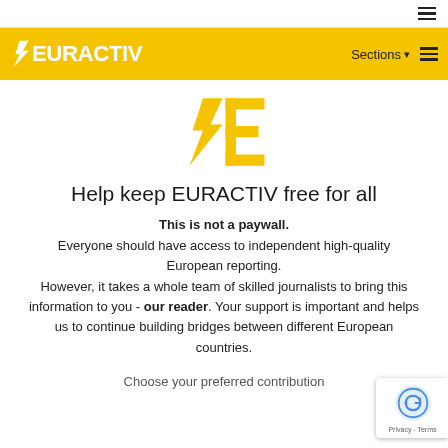EURACTIV – Sections menu bar
[Figure (logo): EURACTIV stylized E logo icon in gold/yellow]
Help keep EURACTIV free for all
This is not a paywall. Everyone should have access to independent high-quality European reporting. However, it takes a whole team of skilled journalists to bring this information to you - our reader. Your support is important and helps us to continue building bridges between different European countries.
Choose your preferred contribution